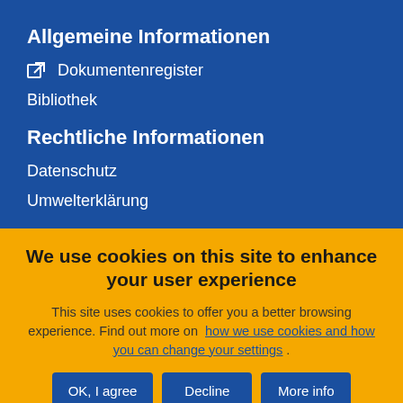Allgemeine Informationen
☐ Dokumentenregister
Bibliothek
Rechtliche Informationen
Datenschutz
Umwelterklärung
We use cookies on this site to enhance your user experience
This site uses cookies to offer you a better browsing experience. Find out more on  how we use cookies and how you can change your settings .